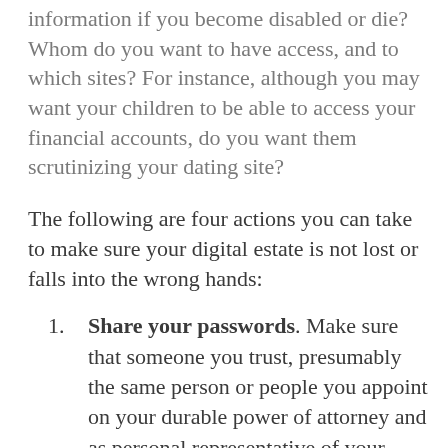information if you become disabled or die? Whom do you want to have access, and to which sites? For instance, although you may want your children to be able to access your financial accounts, do you want them scrutinizing your dating site?
The following are four actions you can take to make sure your digital estate is not lost or falls into the wrong hands:
Share your passwords. Make sure that someone you trust, presumably the same person or people you appoint on your durable power of attorney and as personal representative of your estate, knows your passwords or how to find them. This can get complicated, since our passwords keep